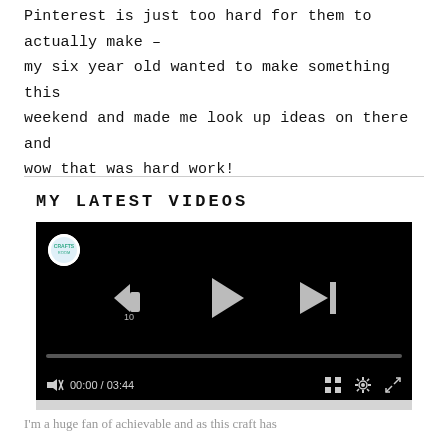Pinterest is just too hard for them to actually make – my six year old wanted to make something this weekend and made me look up ideas on there and wow that was hard work!
MY LATEST VIDEOS
[Figure (screenshot): Video player with black background showing playback controls: rewind 10s button, play button, skip-next button, progress bar at 00:00 / 03:44, mute, grid, settings, and fullscreen icons. A circular logo appears in the top-left corner.]
I'm a huge fan of achievable and as this craft has